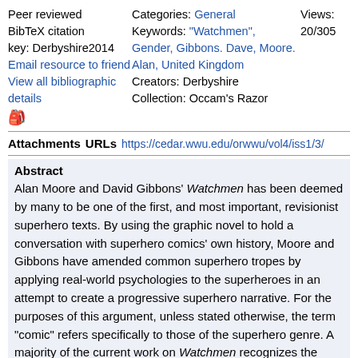Peer reviewed
BibTeX citation key: Derbyshire2014
Email resource to friend
View all bibliographic details
🎭
Categories: General
Keywords: "Watchmen", Gender, Gibbons. Dave, Moore. Alan, United Kingdom
Creators: Derbyshire
Collection: Occam's Razor
Views:
20/305
Attachments  URLs  https://cedar.wwu.edu/orwwu/vol4/iss1/3/
Abstract
Alan Moore and David Gibbons' Watchmen has been deemed by many to be one of the first, and most important, revisionist superhero texts. By using the graphic novel to hold a conversation with superhero comics' own history, Moore and Gibbons have amended common superhero tropes by applying real-world psychologies to the superheroes in an attempt to create a progressive superhero narrative. For the purposes of this argument, unless stated otherwise, the term "comic" refers specifically to those of the superhero genre. A majority of the current work on Watchmen recognizes the differences between the graphic novel and the comics before